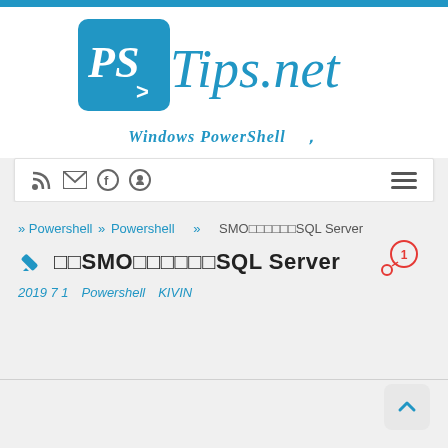[Figure (logo): PSTips.net logo with blue square containing 'PS>' text and italic 'Tips.net' in blue]
Windows PowerShell 、
[Figure (other): Navigation bar with RSS, email, Facebook, GitHub icons on left and hamburger menu on right]
» Powershell » Powershell 　» 　SMO□□□□□□SQL Server
□□SMO□□□□□□SQL Server
2019 7 1　Powershell　KIVIN